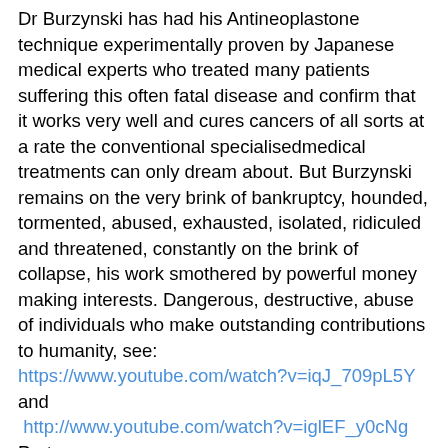Dr Burzynski has had his Antineoplastone technique experimentally proven by Japanese medical experts who treated many patients suffering this often fatal disease and confirm that it works very well and cures cancers of all sorts at a rate the conventional specialisedmedical treatments can only dream about. But Burzynski remains on the very brink of bankruptcy, hounded, tormented, abused, exhausted, isolated, ridiculed and threatened, constantly on the brink of collapse, his work smothered by powerful money making interests. Dangerous, destructive, abuse of individuals who make outstanding contributions to humanity, see: https://www.youtube.com/watch?v=iqJ_709pL5Y and http://www.youtube.com/watch?v=iglEF_y0cNg Part
Cases are many and varied but to quote yet another outstanding discovery of how to achieve “Cold Fusion” Dr Martin Fleischmann and Professor Stanley Pons discovered how to achieve cold fusion in a test tube